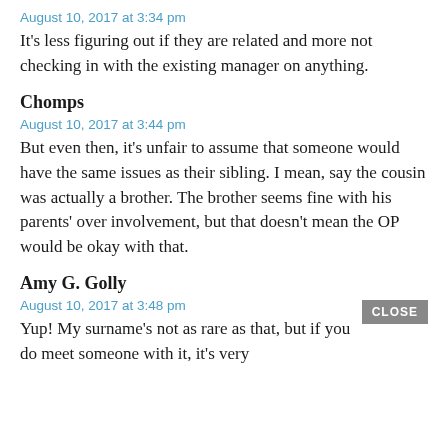August 10, 2017 at 3:34 pm
It's less figuring out if they are related and more not checking in with the existing manager on anything.
Chomps
August 10, 2017 at 3:44 pm
But even then, it's unfair to assume that someone would have the same issues as their sibling. I mean, say the cousin was actually a brother. The brother seems fine with his parents' over involvement, but that doesn't mean the OP would be okay with that.
Amy G. Golly
August 10, 2017 at 3:48 pm
Yup! My surname's not as rare as that, but if you do meet someone with it, it's very